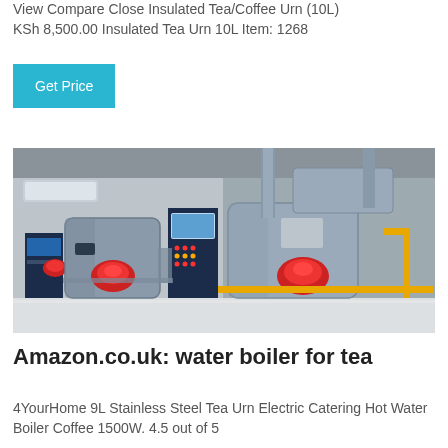View Compare Close Insulated Tea/Coffee Urn (10L) KSh 8,500.00 Insulated Tea Urn 10L Item: 1268
Get Price
[Figure (photo): Industrial water boilers in a facility — two large cylindrical boilers with red burners, connected piping, a control panel, and yellow gas pipes, set in a commercial equipment room.]
Amazon.co.uk: water boiler for tea
4YourHome 9L Stainless Steel Tea Urn Electric Catering Hot Water Boiler Coffee 1500W. 4.5 out of 5